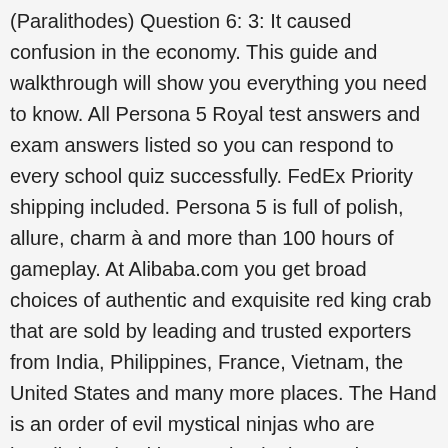(Paralithodes) Question 6: 3: It caused confusion in the economy. This guide and walkthrough will show you everything you need to know. All Persona 5 Royal test answers and exam answers listed so you can respond to every school quiz successfully. FedEx Priority shipping included. Persona 5 is full of polish, allure, charm à and more than 100 hours of gameplay. At Alibaba.com you get broad choices of authentic and exquisite red king crab that are sold by leading and trusted exporters from India, Philippines, France, Vietnam, the United States and many more places. The Hand is an order of evil mystical ninjas who are heavily involved in organized crime and mercenary activities such as assassination plots. You will also gain Knowledge points if you do well on your exams. Sept 28th: So 'PVS', referring to when you mistakenly think your phone is going off What's the P? Which of these phrases has its origins in this shogi piece? CH 2 (Arts & Edutainment) : Summary of Persona Terms and glossary. Red king crabs can reach a carapace width up to 28 cm (11 in), a leg span of 1.8 m (5.9 ft), and a weight of 12.7 kg (28 lb). Red king crabs the